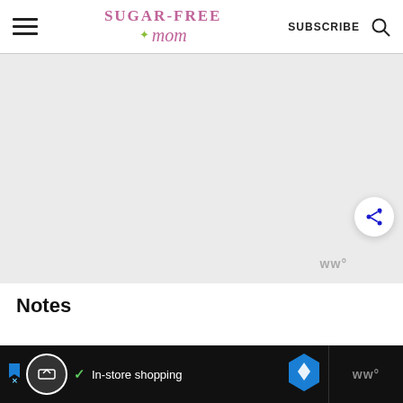Sugar-Free Mom — SUBSCRIBE
[Figure (screenshot): Large light gray content area placeholder with a white circular share button (with blue share/plus icon) in the bottom right, and a gray watermark logo text 'ww°' at bottom right area.]
Notes
[Figure (screenshot): Bottom advertisement bar: dark background with an ad marker, a circular logo icon, a checkmark, 'In-store shopping' text, a blue diamond map navigation icon on the left portion, and 'ww°' logo on the right dark section.]